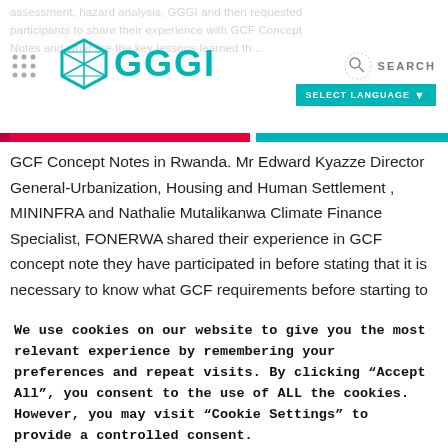GGGI website header with logo, navigation, search and language selector
GCF Concept Notes in Rwanda. Mr Edward Kyazze Director General-Urbanization, Housing and Human Settlement , MININFRA and Nathalie Mutalikanwa Climate Finance Specialist, FONERWA shared their experience in GCF concept note they have participated in before stating that it is necessary to know what GCF requirements before starting to develop Concept note and secondly make it clear who
We use cookies on our website to give you the most relevant experience by remembering your preferences and repeat visits. By clicking “Accept All”, you consent to the use of ALL the cookies. However, you may visit "Cookie Settings" to provide a controlled consent.